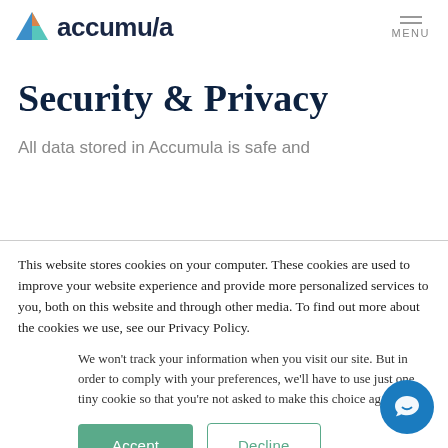accumula | MENU
Security & Privacy
All data stored in Accumula is safe and
This website stores cookies on your computer. These cookies are used to improve your website experience and provide more personalized services to you, both on this website and through other media. To find out more about the cookies we use, see our Privacy Policy.
We won't track your information when you visit our site. But in order to comply with your preferences, we'll have to use just one tiny cookie so that you're not asked to make this choice again.